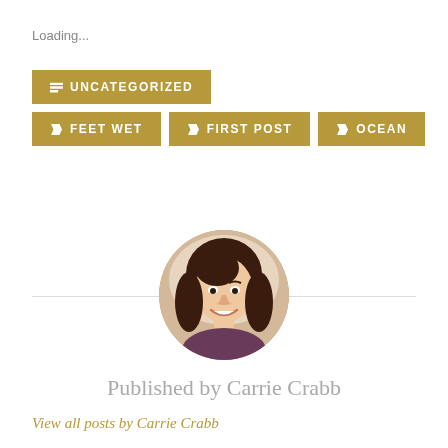Loading...
UNCATEGORIZED
FEET WET
FIRST POST
OCEAN
[Figure (photo): Circular portrait photo of Carrie Crabb, a woman with dark brown hair, smiling, against a light background]
Published by Carrie Crabb
View all posts by Carrie Crabb